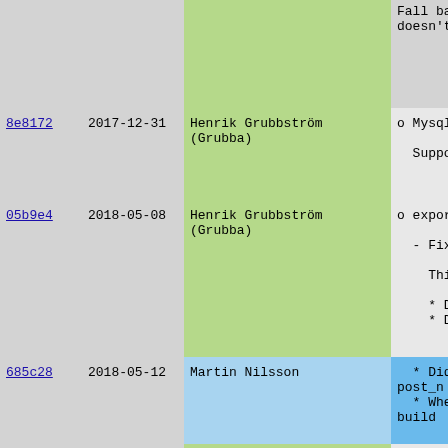| Hash | Date | Author | Message |
| --- | --- | --- | --- |
|  |  |  | Fall back
doesn't ex |
| 8e8172 | 2017-12-31 | Henrik Grubbström (Grubba) | o Mysql

Support Ma |
| 05b9e4 | 2018-05-08 | Henrik Grubbström (Grubba) | o export

- Fixed f:

This was

* Did no
* Did no |
| 685c28 | 2018-05-12 | Martin Nilsson | * Did no
post_n
* When t
build |
| 05b9e4 | 2018-05-08 | Henrik Grubbström (Grubba) | * Did no

This has
configur |
| 86f10e | 2017-11-06 | Henrik Grubbström (Grubba) | o precompile |